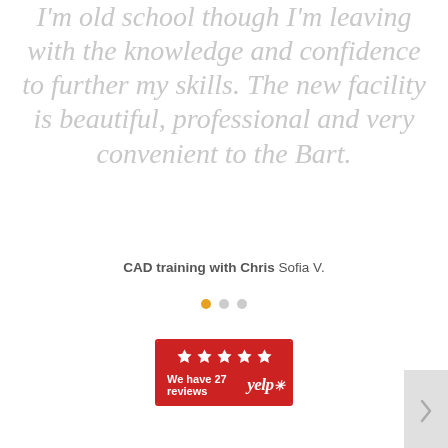I'm old school though I'm leaving with the knowledge and confidence to further my skills. The new facility is beautiful, professional and very convenient to the Bart.
CAD training with Chris Sofia V.
[Figure (other): Yelp badge with 5 stars and text 'We have 27 reviews']